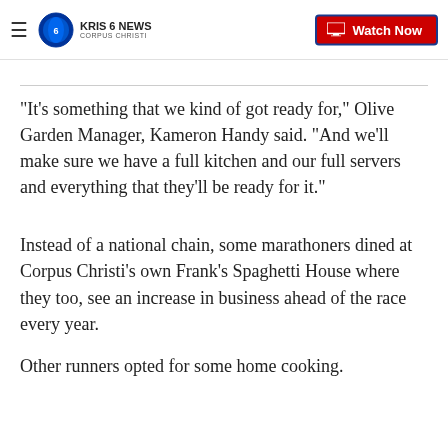KRIS 6 NEWS CORPUS CHRISTI | Watch Now
"It’s something that we kind of got ready for," Olive Garden Manager, Kameron Handy said. "And we’ll make sure we have a full kitchen and our full servers and everything that they’ll be ready for it."
Instead of a national chain, some marathoners dined at Corpus Christi's own Frank's Spaghetti House where they too, see an increase in business ahead of the race every year.
Other runners opted for some home cooking.